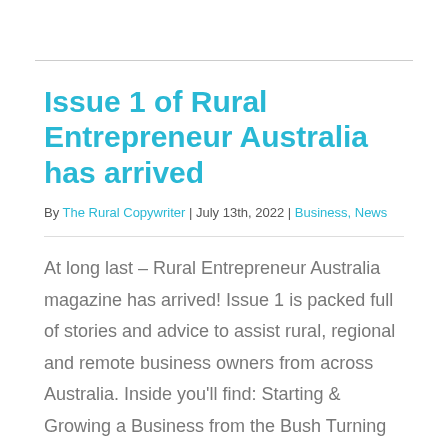Issue 1 of Rural Entrepreneur Australia has arrived
By The Rural Copywriter | July 13th, 2022 | Business, News
At long last – Rural Entrepreneur Australia magazine has arrived! Issue 1 is packed full of stories and advice to assist rural, regional and remote business owners from across Australia. Inside you'll find: Starting & Growing a Business from the Bush Turning Your Hobby into a Business Without a Shopfront Building Smart